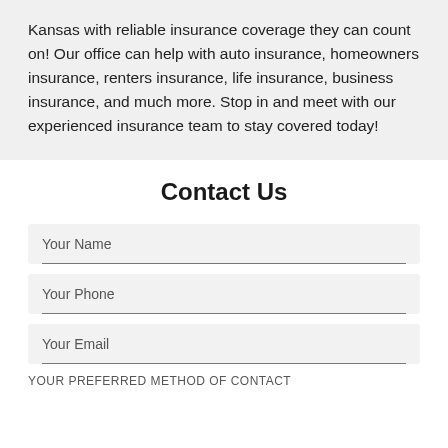Kansas with reliable insurance coverage they can count on! Our office can help with auto insurance, homeowners insurance, renters insurance, life insurance, business insurance, and much more. Stop in and meet with our experienced insurance team to stay covered today!
Contact Us
Your Name
Your Phone
Your Email
YOUR PREFERRED METHOD OF CONTACT